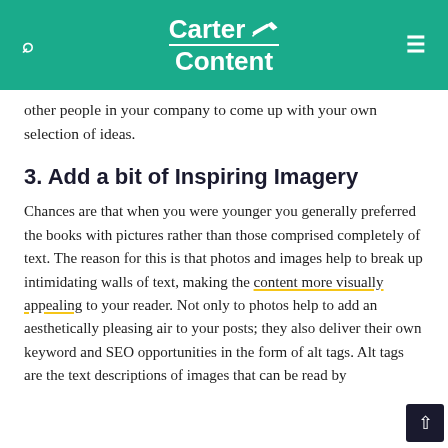Carter Content
other people in your company to come up with your own selection of ideas.
3. Add a bit of Inspiring Imagery
Chances are that when you were younger you generally preferred the books with pictures rather than those comprised completely of text. The reason for this is that photos and images help to break up intimidating walls of text, making the content more visually appealing to your reader. Not only to photos help to add an aesthetically pleasing air to your posts; they also deliver their own keyword and SEO opportunities in the form of alt tags. Alt tags are the text descriptions of images that can be read by